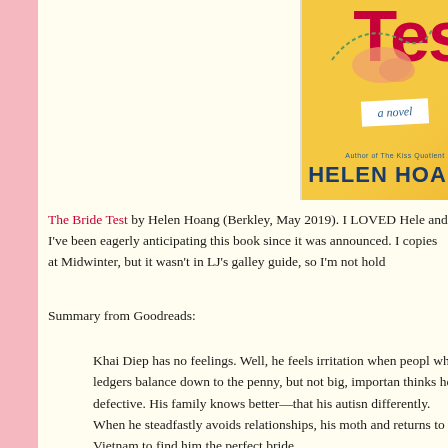[Figure (illustration): Book cover of 'The Bride Test' by Helen Hoang, showing yellow background with decorative elements, 'a novel' text on envelope shape, and author name in large letters. Partially cropped showing 'Test' in red letters at top.]
The Bride Test by Helen Hoang (Berkley, May 2019). I LOVED Hele and I've been eagerly anticipating this book since it was announced. I copies at Midwinter, but it wasn't in LJ's galley guide, so I'm not hold
Summary from Goodreads:
Khai Diep has no feelings. Well, he feels irritation when peopl when ledgers balance down to the penny, but not big, importan thinks he's defective. His family knows better—that his autisn differently. When he steadfastly avoids relationships, his moth and returns to Vietnam to find him the perfect bride.